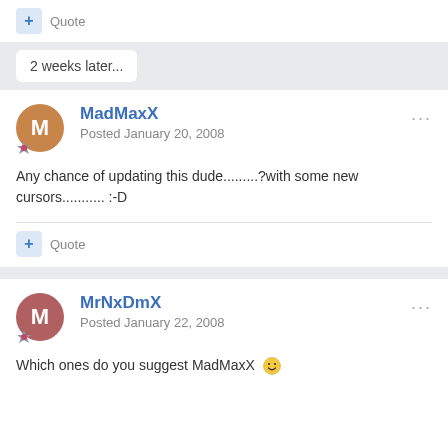+ Quote
2 weeks later...
MadMaxX
Posted January 20, 2008
Any chance of updating this dude.........?with some new cursors........... :-D
+ Quote
MrNxDmX
Posted January 22, 2008
Which ones do you suggest MadMaxX :)